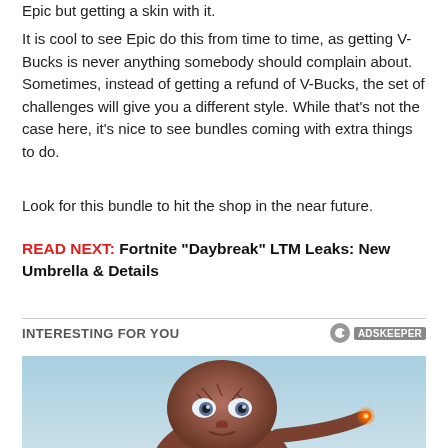Epic but getting a skin with it.
It is cool to see Epic do this from time to time, as getting V-Bucks is never anything somebody should complain about. Sometimes, instead of getting a refund of V-Bucks, the set of challenges will give you a different style. While that’s not the case here, it’s nice to see bundles coming with extra things to do.
Look for this bundle to hit the shop in the near future.
READ NEXT: Fortnite “Daybreak” LTM Leaks: New Umbrella & Details
INTERESTING FOR YOU
[Figure (photo): Close-up photo of E.T. the Extra-Terrestrial character with glowing fingertip, set against a blue background]